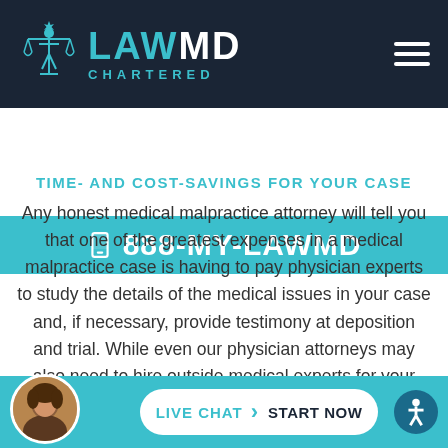[Figure (logo): LawMD Chartered logo with teal scales of justice and figure icon on dark navy background, with hamburger menu icon on right]
📱 888-MY-LAWMD
TIME- AND COST-SAVINGS FOR YOUR CASE
Any honest medical malpractice attorney will tell you that one of the greatest expenses in a medical malpractice case is having to pay physician experts to study the details of the medical issues in your case and, if necessary, provide testimony at deposition and trial. While even our physician attorneys may also need to hire outside medical experts for your case, our medical know-how allows us to perform a significant amount of the
[Figure (infographic): Live chat bar at bottom with chat avatar photo of woman, white pill-shaped button with LIVE CHAT and START NOW text, and accessibility icon on teal background]